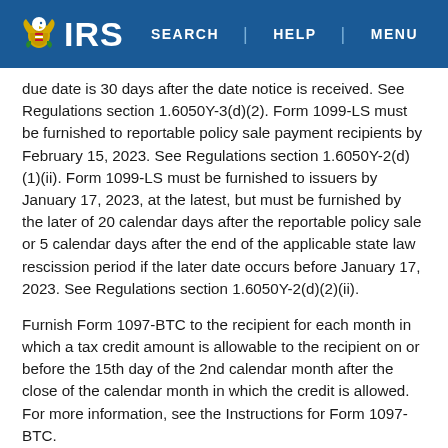IRS | SEARCH | HELP | MENU
due date is 30 days after the date notice is received. See Regulations section 1.6050Y-3(d)(2). Form 1099-LS must be furnished to reportable policy sale payment recipients by February 15, 2023. See Regulations section 1.6050Y-2(d)(1)(ii). Form 1099-LS must be furnished to issuers by January 17, 2023, at the latest, but must be furnished by the later of 20 calendar days after the reportable policy sale or 5 calendar days after the end of the applicable state law rescission period if the later date occurs before January 17, 2023. See Regulations section 1.6050Y-2(d)(2)(ii).
Furnish Form 1097-BTC to the recipient for each month in which a tax credit amount is allowable to the recipient on or before the 15th day of the 2nd calendar month after the close of the calendar month in which the credit is allowed. For more information, see the Instructions for Form 1097-BTC.
Donee organizations required to issue Form 1098-C must furnish the acknowledgment to a donor within 30 days of